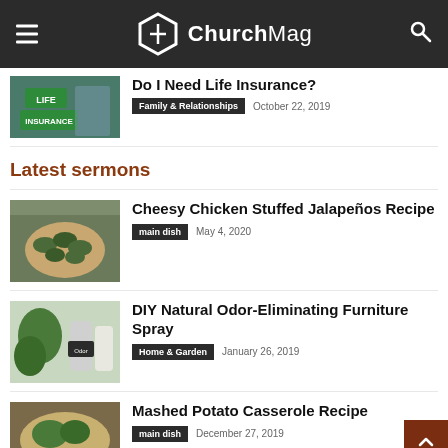ChurchMag
Do I Need Life Insurance?
Family & Relationships   October 22, 2019
Latest sermons
Cheesy Chicken Stuffed Jalapeños Recipe
main dish   May 4, 2020
DIY Natural Odor-Eliminating Furniture Spray
Home & Garden   January 26, 2019
Mashed Potato Casserole Recipe
main dish   December 27, 2019